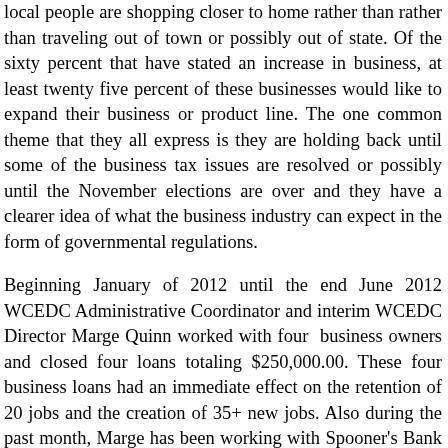local people are shopping closer to home rather than rather than traveling out of town or possibly out of state. Of the sixty percent that have stated an increase in business, at least twenty five percent of these businesses would like to expand their business or product line. The one common theme that they all express is they are holding back until some of the business tax issues are resolved or possibly until the November elections are over and they have a clearer idea of what the business industry can expect in the form of governmental regulations.
Beginning January of 2012 until the end June 2012 WCEDC Administrative Coordinator and interim WCEDC Director Marge Quinn worked with four business owners and closed four loans totaling $250,000.00. These four business loans had an immediate effect on the retention of 20 jobs and the creation of 35+ new jobs. Also during the past month, Marge has been working with Spooner's Bank of the West on receiving a $2,500.00 Charitable Contribution Grant. Each year Bank of the West's Charitable Investment Program donates to local nonprofits